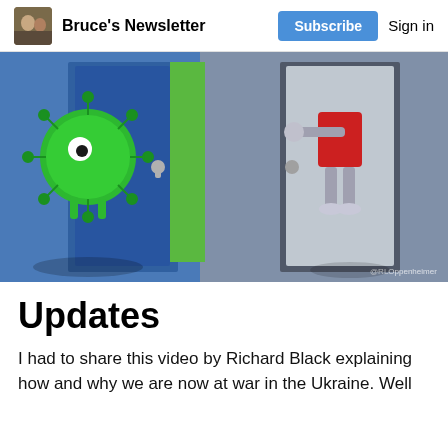Bruce's Newsletter
[Figure (illustration): Cartoon illustration showing a COVID-19 virus character (green, spiky) entering through a door on the left, while a robotic/mechanical figure exits through a door on the right. The background features blue and green colors. Watermark reads @RLOppenheimer.]
Updates
I had to share this video by Richard Black explaining how and why we are now at war in the Ukraine. Well